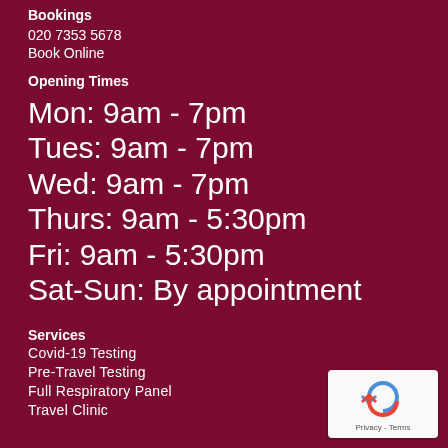Bookings
020 7353 5678
Book Online
Opening Times
Mon: 9am - 7pm
Tues: 9am - 7pm
Wed: 9am - 7pm
Thurs: 9am - 5:30pm
Fri: 9am - 5:30pm
Sat-Sun: By appointment
Services
Covid-19 Testing
Pre-Travel Testing
Full Respiratory Panel
Travel Clinic